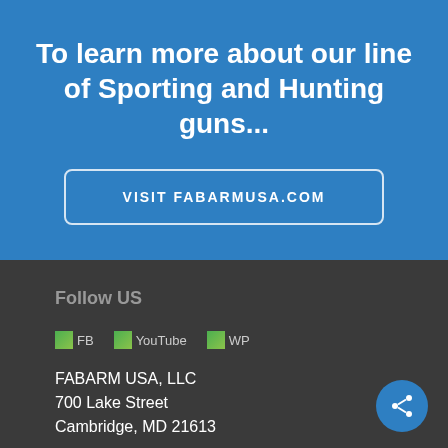To learn more about our line of Sporting and Hunting guns...
VISIT FABARMUSA.COM
Follow US
[Figure (logo): FB icon]
[Figure (logo): YouTube icon]
[Figure (logo): WP icon]
FABARM USA, LLC
700 Lake Street
Cambridge, MD 21613